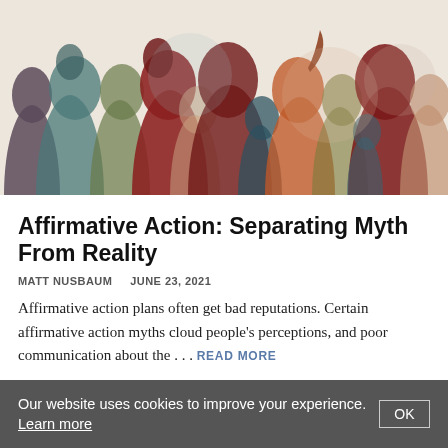[Figure (illustration): Colorful overlapping silhouettes of diverse people in profile facing various directions, rendered in dark red, teal, olive, orange, and gray tones on a light background.]
Affirmative Action: Separating Myth From Reality
MATT NUSBAUM    JUNE 23, 2021
Affirmative action plans often get bad reputations. Certain affirmative action myths cloud people’s perceptions, and poor communication about the . . . READ MORE
Our website uses cookies to improve your experience.  Learn more